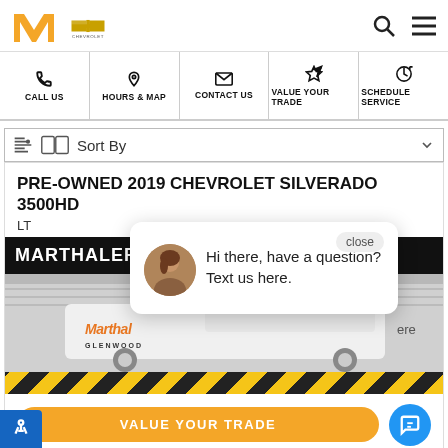Marthaler Chevrolet Glenwood - dealer website header
CALL US
HOURS & MAP
CONTACT US
VALUE YOUR TRADE
SCHEDULE SERVICE
Sort By
PRE-OWNED 2019 CHEVROLET SILVERADO 3500HD
LT
MARTHALER BEST PRICE $45,900
[Figure (screenshot): Car image area with Marthaler Glenwood branding overlay, hazard stripe, and VALUE YOUR TRADE orange button with chat popup showing a female agent and text: Hi there, have a question? Text us here.]
Hi there, have a question? Text us here.
VALUE YOUR TRADE